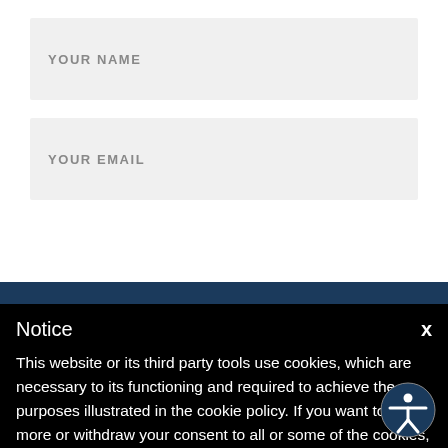YOUR NAME
YOUR EMAIL
Notice
This website or its third party tools use cookies, which are necessary to its functioning and required to achieve the purposes illustrated in the cookie policy. If you want to know more or withdraw your consent to all or some of the cookies, please refer to the cookie policy. By closing this banner, scrolling this page, clicking a link or continuing to browse otherwise, you agree to the use of cookies.